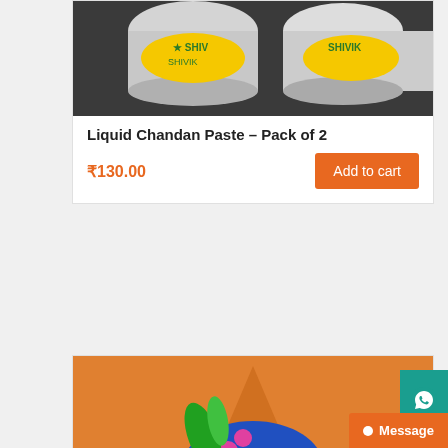[Figure (photo): Product image of Shivik Liquid Chandan Paste containers with yellow and white lids on dark background]
Liquid Chandan Paste – Pack of 2
₹130.00
[Figure (photo): Hand-painted bead bag featuring Shri Krishna with blue skin, colorful headgear, flute, and floral garland on orange background]
Shri Krishna – Hand Painted Bead Bag
₹450.00